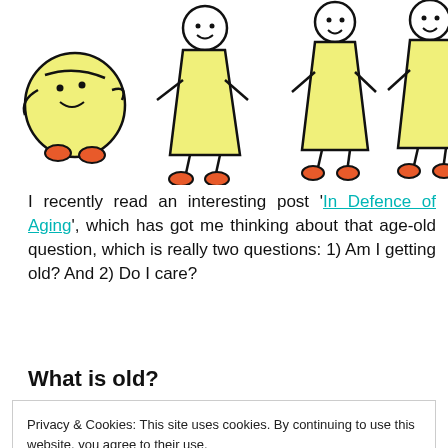[Figure (illustration): Cartoon drawing of four child-like figures in yellow dresses/outfits with red shoes on a white background]
I recently read an interesting post 'In Defence of Aging', which has got me thinking about that age-old question, which is really two questions: 1) Am I getting old? And 2) Do I care?
What is old?
Privacy & Cookies: This site uses cookies. By continuing to use this website, you agree to their use.
To find out more, including how to control cookies, see here: Cookie Policy
that the next World Cup would be in four